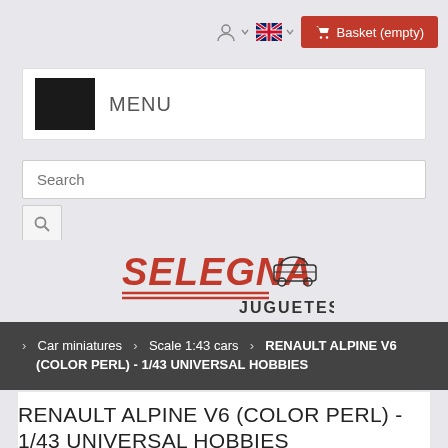Basket (empty)
MENU
Search
[Figure (logo): Selegna Juguetes logo with red italic text SELEGNA, double underline, small car icon, and JUGUETES text]
> Car miniatures > Scale 1:43 cars > RENAULT ALPINE V6 (COLOR PERL) - 1/43 UNIVERSAL HOBBIES
RENAULT ALPINE V6 (COLOR PERL) - 1/43 UNIVERSAL HOBBIES